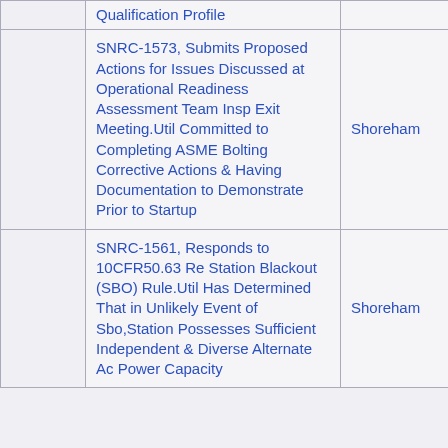|  | Qualification Profile |  |
| --- | --- | --- |
|  | SNRC-1573, Submits Proposed Actions for Issues Discussed at Operational Readiness Assessment Team Insp Exit Meeting.Util Committed to Completing ASME Bolting Corrective Actions & Having Documentation to Demonstrate Prior to Startup | Shoreham |
|  | SNRC-1561, Responds to 10CFR50.63 Re Station Blackout (SBO) Rule.Util Has Determined That in Unlikely Event of Sbo,Station Possesses Sufficient Independent & Diverse Alternate Ac Power Capacity | Shoreham |